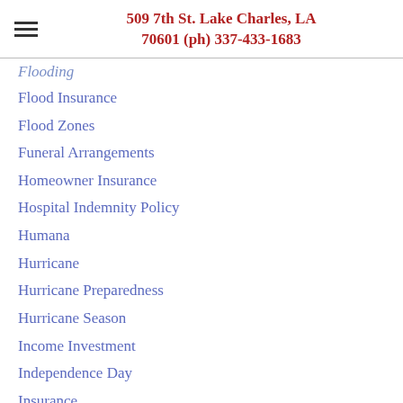509 7th St. Lake Charles, LA 70601 (ph) 337-433-1683
Flooding
Flood Insurance
Flood Zones
Funeral Arrangements
Homeowner Insurance
Hospital Indemnity Policy
Humana
Hurricane
Hurricane Preparedness
Hurricane Season
Income Investment
Independence Day
Insurance
Insurance Binder
Insurance Deductible
Insurance History
Insurance Laws
Insure Your Love